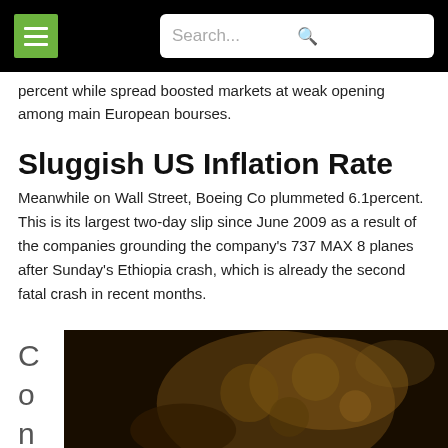Search...
percent while spread boosted markets at weak opening among main European bourses.
Sluggish US Inflation Rate
Meanwhile on Wall Street, Boeing Co plummeted 6.1percent. This is its largest two-day slip since June 2009 as a result of the companies grounding the company's 737 MAX 8 planes after Sunday's Ethiopia crash, which is already the second fatal crash in recent months.
C
o
n
[Figure (photo): Close-up photo of coins, dark background with golden/amber tones]